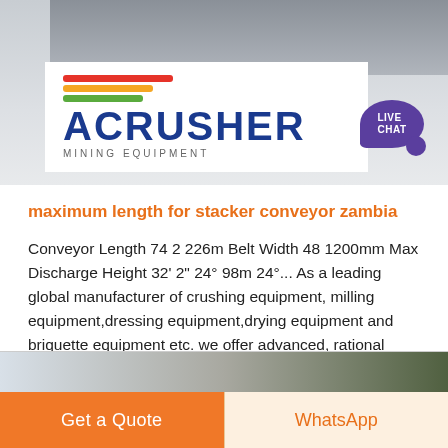[Figure (photo): Banner image showing ACRUSHER Mining Equipment logo on white background with machinery silhouette behind, and a live chat bubble icon in purple on the right]
maximum length for stacker conveyor zambia
Conveyor Length 74 2 226m Belt Width 48 1200mm Max Discharge Height 32' 2" 24° 98m 24°... As a leading global manufacturer of crushing equipment, milling equipment,dressing equipment,drying equipment and briquette equipment etc. we offer advanced, rational solutions for any size-reduction requirements, including quarry, aggregate, grinding production and complete plant plan.
Learn More →
[Figure (photo): Partial bottom strip image showing landscape/industrial scene]
Get a Quote
WhatsApp